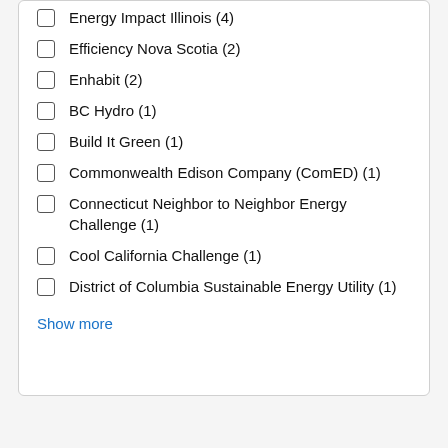Energy Impact Illinois (4)
Efficiency Nova Scotia (2)
Enhabit (2)
BC Hydro (1)
Build It Green (1)
Commonwealth Edison Company (ComED) (1)
Connecticut Neighbor to Neighbor Energy Challenge (1)
Cool California Challenge (1)
District of Columbia Sustainable Energy Utility (1)
Show more